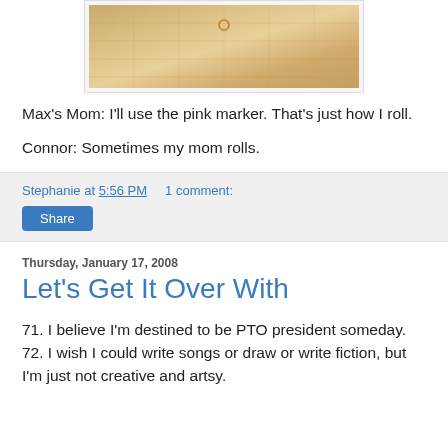[Figure (photo): Partial view of a wood gymnasium or hardwood floor from above, warm brown tones]
Max's Mom: I'll use the pink marker. That's just how I roll.
Connor: Sometimes my mom rolls.
Stephanie at 5:56 PM    1 comment:
Share
Thursday, January 17, 2008
Let's Get It Over With
71. I believe I'm destined to be PTO president someday.
72. I wish I could write songs or draw or write fiction, but I'm just not creative and artsy.